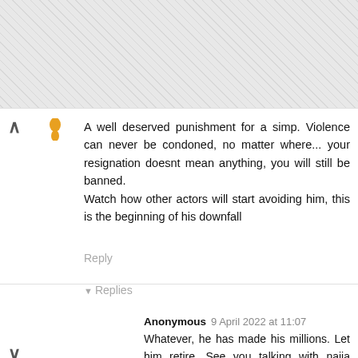[Figure (screenshot): Top hatched/grey patterned background area representing obscured content above the comment]
A well deserved punishment for a simp. Violence can never be condoned, no matter where... your resignation doesnt mean anything, you will still be banned.
Watch how other actors will start avoiding him, this is the beginning of his downfall
Reply
Replies
Anonymous 9 April 2022 at 11:07
Whatever, he has made his millions. Let him retire. See you talking with naija mentality